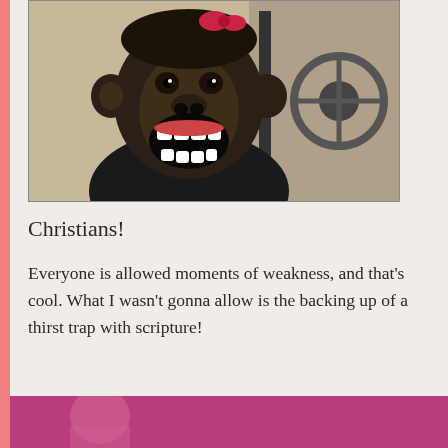[Figure (photo): A chimpanzee with mouth wide open appearing to laugh or scream, sitting in what appears to a vehicle interior. Black and white/sepia toned image.]
Christians!
Everyone is allowed moments of weakness, and that's cool. What I wasn't gonna allow is the backing up of a thirst trap with scripture!
[Figure (photo): Partially visible photo at the bottom of the page with pink/magenta tones, cropped.]